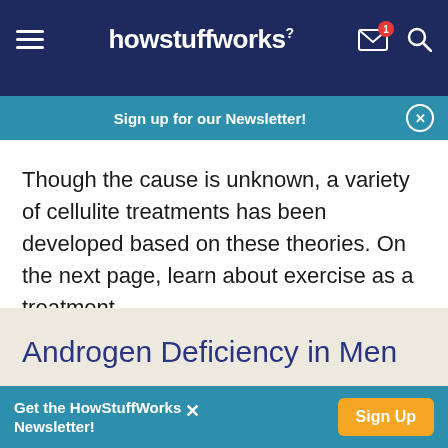[Figure (screenshot): HowStuffWorks website navigation bar with hamburger menu, logo, mail icon with badge showing 1, and search icon on dark navy background]
Sign up for our Newsletter!
Though the cause is unknown, a variety of cellulite treatments has been developed based on these theories. On the next page, learn about exercise as a treatment.
Androgen Deficiency in Men
Get the HowStuffWorks Newsletter!